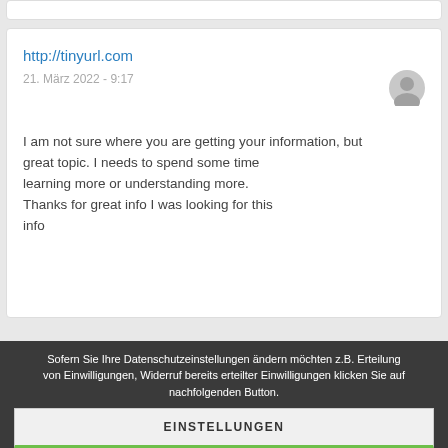[Figure (screenshot): Top partial white card element (partially visible)]
http://tinyurl.com
21. März 2022 - 9:17
[Figure (illustration): Gray generic user avatar icon circle]
I am not sure where you are getting your information, but great topic. I needs to spend some time learning more or understanding more. Thanks for great info I was looking for this info
Sofern Sie Ihre Datenschutzeinstellungen ändern möchten z.B. Erteilung von Einwilligungen, Widerruf bereits erteilter Einwilligungen klicken Sie auf nachfolgenden Button.
EINSTELLUNGEN